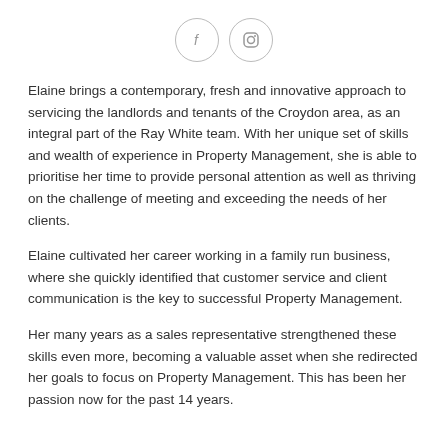[Figure (illustration): Two circular social media icons: Facebook (f) and Instagram (camera/square) side by side with grey outlines]
Elaine brings a contemporary, fresh and innovative approach to servicing the landlords and tenants of the Croydon area, as an integral part of the Ray White team. With her unique set of skills and wealth of experience in Property Management, she is able to prioritise her time to provide personal attention as well as thriving on the challenge of meeting and exceeding the needs of her clients.
Elaine cultivated her career working in a family run business, where she quickly identified that customer service and client communication is the key to successful Property Management.
Her many years as a sales representative strengthened these skills even more, becoming a valuable asset when she redirected her goals to focus on Property Management.  This has been her passion now for the past 14 years.